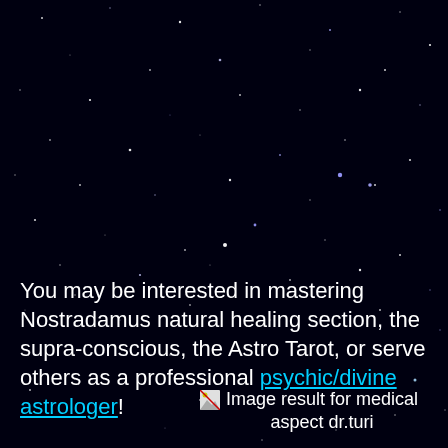[Figure (photo): Night sky / starfield background — dark black sky filled with scattered white and faint blue/white stars of varying sizes and brightness.]
You may be interested in mastering Nostradamus natural healing section, the supra-conscious, the Astro Tarot, or serve others as a professional psychic/divine astrologer!
[Figure (other): Broken image placeholder icon with caption: Image result for medical aspect dr.turi]